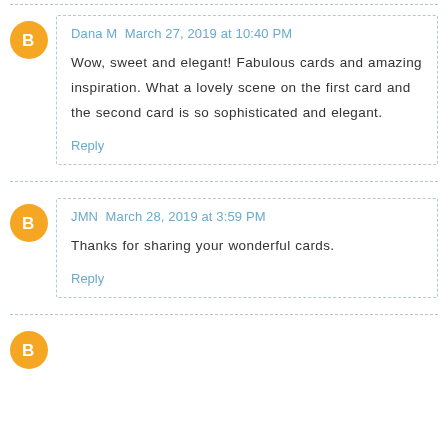Dana M March 27, 2019 at 10:40 PM
Wow, sweet and elegant! Fabulous cards and amazing inspiration. What a lovely scene on the first card and the second card is so sophisticated and elegant.
Reply
JMN March 28, 2019 at 3:59 PM
Thanks for sharing your wonderful cards.
Reply